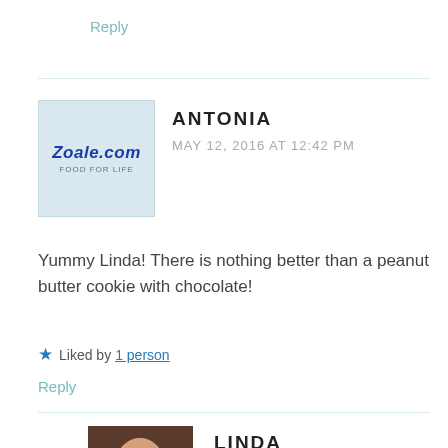Reply
ANTONIA
MAY 12, 2016 AT 12:42 PM
Yummy Linda! There is nothing better than a peanut butter cookie with chocolate!
★ Liked by 1 person
Reply
LINDA
MAY 12, 2016 AT 1:13 PM